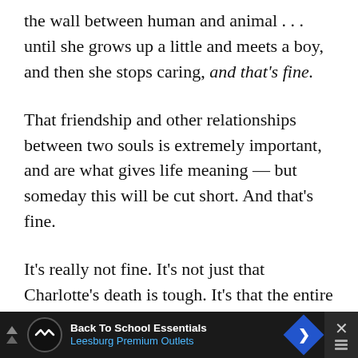the wall between human and animal . . . until she grows up a little and meets a boy, and then she stops caring, and that's fine.
That friendship and other relationships between two souls is extremely important, and are what gives life meaning — but someday this will be cut short. And that's fine.
It's really not fine. It's not just that Charlotte's death is tough. It's that the entire book is steeped in a kind of mild nihilism, brightened by the suggestion that sometimes, if you're lucky, you can put off death for a while. How is
[Figure (other): Advertisement banner for Back To School Essentials at Leesburg Premium Outlets with logo, navigation icon, and close button.]